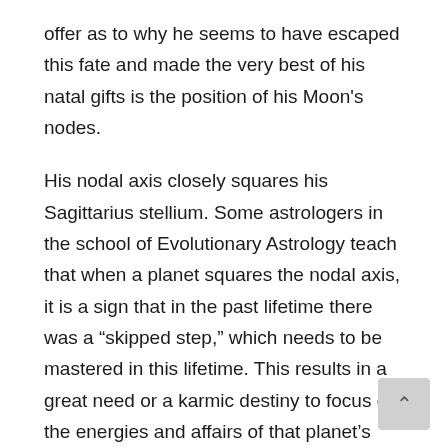offer as to why he seems to have escaped this fate and made the very best of his natal gifts is the position of his Moon's nodes.
His nodal axis closely squares his Sagittarius stellium. Some astrologers in the school of Evolutionary Astrology teach that when a planet squares the nodal axis, it is a sign that in the past lifetime there was a “skipped step,” which needs to be mastered in this lifetime. This results in a great need or a karmic destiny to focus on the energies and affairs of that planet’s placement by house and sign. Perhaps this is the force that has motivated Farrow to be so effective in expressing his Sagittarian gifts by exposing powerful authority figures and the dysfun of our institutions through his exemplary journalisn